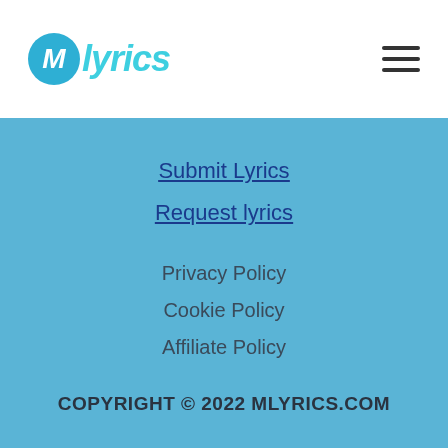[Figure (logo): MLyrics logo with blue circle M and teal italic 'lyrics' text]
Submit Lyrics
Request lyrics
Privacy Policy
Cookie Policy
Affiliate Policy
COPYRIGHT © 2022 MLYRICS.COM